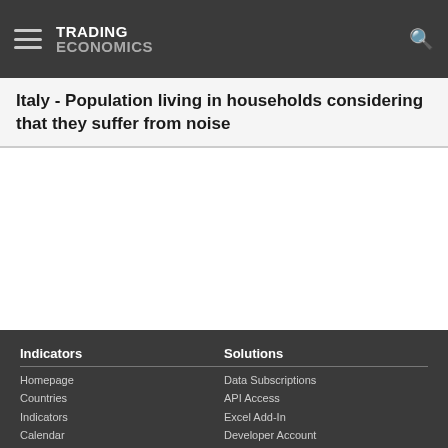TRADING ECONOMICS
Italy - Population living in households considering that they suffer from noise
Indicators | Homepage | Countries | Indicators | Calendar | Forecasts | Solutions | Data Subscriptions | API Access | Excel Add-In | Developer Account | Documentation